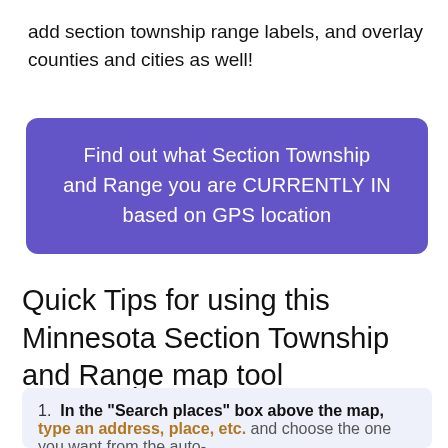add section township range labels, and overlay counties and cities as well!
[Figure (other): Purple rounded rectangle button with white text: 'Find out what Section Township and Range you are CURRENTLY IN based on GPS location']
Quick Tips for using this Minnesota Section Township and Range map tool
1. In the “Search places” box above the map, type an address, place, etc. and choose the one you want from the auto-